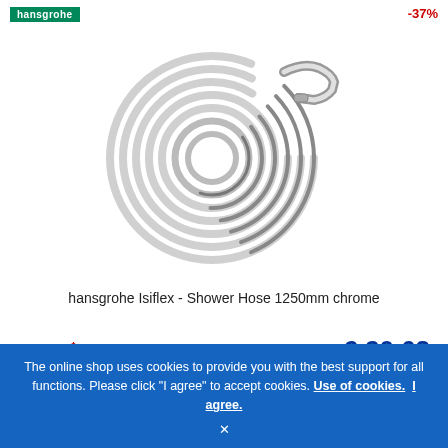[Figure (logo): hansgrohe brand logo in green rectangle]
-37%
[Figure (photo): hansgrohe Isiflex shower hose coiled in chrome finish]
hansgrohe Isiflex - Shower Hose 1250mm chrome
€ 32.96*
€ 20.63
Delivery time: approx. 1-3 days
The online shop uses cookies to provide you with the best support for all functions. Please click "I agree" to accept cookies. Use of cookies. I agree.